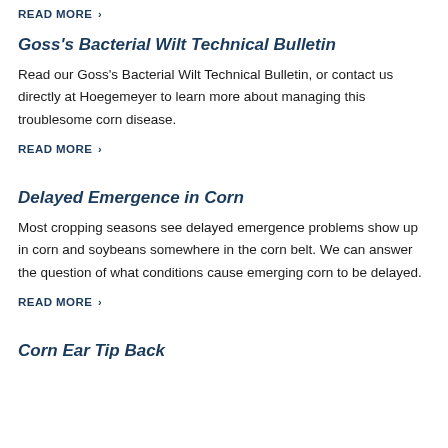READ MORE >
Goss's Bacterial Wilt Technical Bulletin
Read our Goss's Bacterial Wilt Technical Bulletin, or contact us directly at Hoegemeyer to learn more about managing this troublesome corn disease.
READ MORE >
Delayed Emergence in Corn
Most cropping seasons see delayed emergence problems show up in corn and soybeans somewhere in the corn belt. We can answer the question of what conditions cause emerging corn to be delayed.
READ MORE >
Corn Ear Tip Back